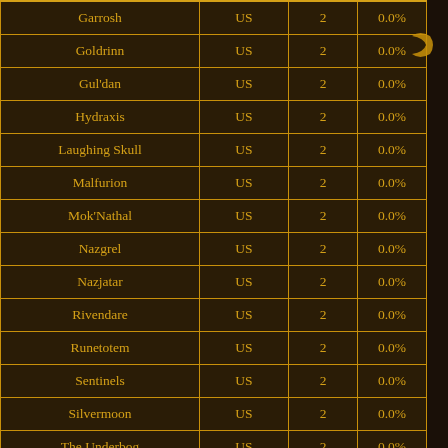| Realm | Region | Count | Percentage |
| --- | --- | --- | --- |
| Garrosh | US | 2 | 0.0% |
| Goldrinn | US | 2 | 0.0% |
| Gul'dan | US | 2 | 0.0% |
| Hydraxis | US | 2 | 0.0% |
| Laughing Skull | US | 2 | 0.0% |
| Malfurion | US | 2 | 0.0% |
| Mok'Nathal | US | 2 | 0.0% |
| Nazgrel | US | 2 | 0.0% |
| Nazjatar | US | 2 | 0.0% |
| Rivendare | US | 2 | 0.0% |
| Runetotem | US | 2 | 0.0% |
| Sentinels | US | 2 | 0.0% |
| Silvermoon | US | 2 | 0.0% |
| The Underbog | US | 2 | 0.0% |
| Warsong | US | 2 | 0.0% |
| Wildhammer | US | 2 | 0.0% |
| Z... | US | 2 | 0.0% |